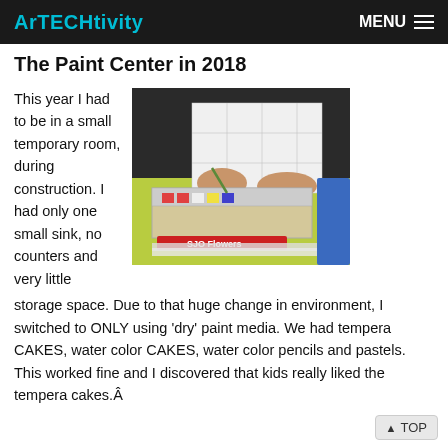ArTECHtivity | MENU
The Paint Center in 2018
This year I had to be in a small temporary room, during construction. I had only one small sink, no counters and very little storage space. Due to that huge change in environment, I switched to ONLY using ‘dry’ paint media. We had tempera CAKES, water color CAKES, water color pencils and pastels. This worked fine and I discovered that kids really liked the tempera cakes.Â
[Figure (photo): A student working with a watercolor paint set and a piece of paper with outlined shapes on a bright yellow-green table surface, with a box of art supplies visible in the foreground.]